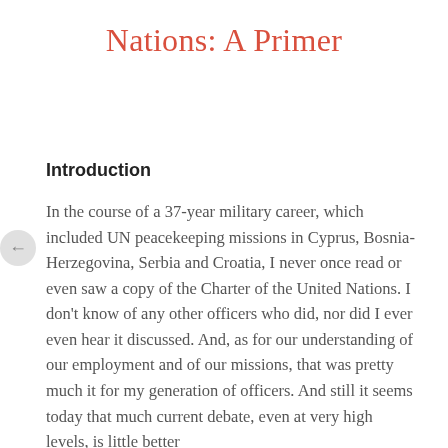Nations: A Primer
Introduction
In the course of a 37-year military career, which included UN peacekeeping missions in Cyprus, Bosnia-Herzegovina, Serbia and Croatia, I never once read or even saw a copy of the Charter of the United Nations. I don't know of any other officers who did, nor did I ever even hear it discussed. And, as for our understanding of our employment and of our missions, that was pretty much it for my generation of officers. And still it seems today that much current debate, even at very high levels, is little better